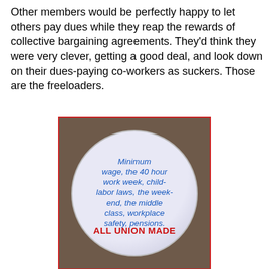Other members would be perfectly happy to let others pay dues while they reap the rewards of collective bargaining agreements. They'd think they were very clever, getting a good deal, and look down on their dues-paying co-workers as suckers. Those are the freeloaders.
[Figure (photo): A circular button/badge with blue italic text reading 'Minimum wage, the 40 hour work week, child-labor laws, the week-end, the middle class, workplace safety, pensions.' and bold red text at the bottom reading 'ALL UNION MADE'. The badge is set against a brown/dark background and enclosed in a red border.]
On the nonunion side, so many working people don't understand that they benefit from the presence of unions every day of their lives, as unions have raised workplace standards, salaries, and standards of living for all working people - not just historically, but right now. We've all seen the posters and slogans, like the button pictured here. But so